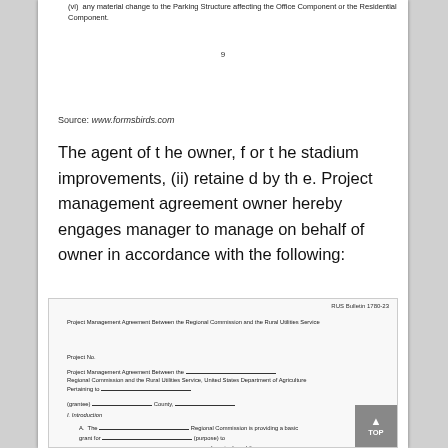(vi) any material change to the Parking Structure affecting the Office Component or the Residential Component.
9
Source: www.formsbirds.com
The agent of t he owner, f or t he stadium improvements, (ii) retaine d by th e. Project management agreement owner hereby engages manager to manage on behalf of owner in accordance with the following:
RUS Bulletin 1780-23
Project Management Agreement Between the Regional Commission and the Rural Utilities Service
Project No.
Project Management Agreement Between the ___________________________ Regional Commission and the Rural Utilities Service, United States Department of Agriculture Pertaining to ___________________________
(grantee) ___________________ County, _______________
I. Introduction
A. The ___________________________ Regional Commission is providing a basic grant for ___________________________ (purpose) to ___________________________ (grantee), and the Department of Agriculture, Rural Utilities Service (RUS) has approved and the Rural Commission and Regional Commission (RUS) State Bureau Office the administrator